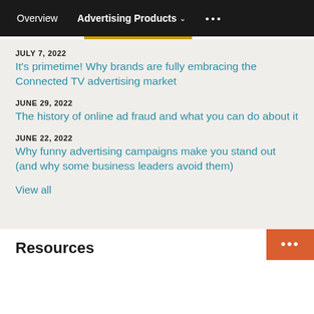Overview   Advertising Products ▾   •••
JULY 7, 2022
It's primetime! Why brands are fully embracing the Connected TV advertising market
JUNE 29, 2022
The history of online ad fraud and what you can do about it
JUNE 22, 2022
Why funny advertising campaigns make you stand out (and why some business leaders avoid them)
View all
Resources